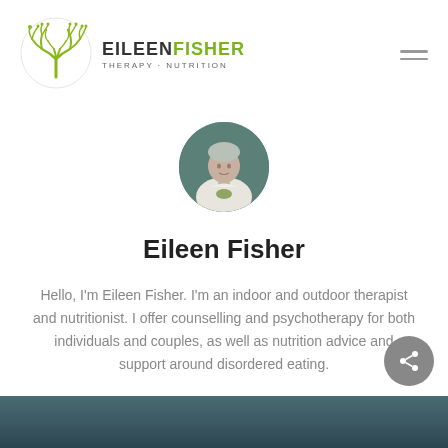[Figure (logo): Eileen Fisher Therapy Nutrition logo with a circular tree/branch icon in olive green and the text EILEEN FISHER THERAPY · NUTRITION]
[Figure (photo): Circular profile photo of Eileen Fisher, a woman in a white top against a teal/green background]
Eileen Fisher
Hello, I'm Eileen Fisher. I'm an indoor and outdoor therapist and nutritionist. I offer counselling and psychotherapy for both individuals and couples, as well as nutrition advice and support around disordered eating.
[Figure (photo): Bottom strip showing a partial landscape/nature photo in dark teal tones]